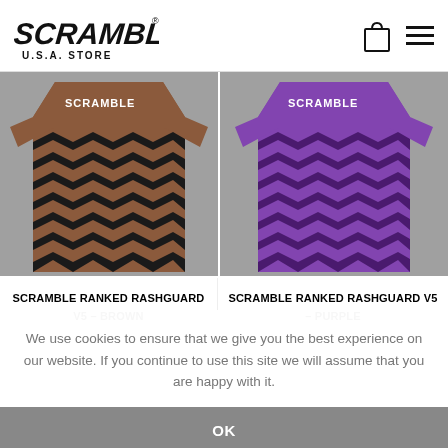[Figure (logo): Scramble USA Store logo - stylized Japanese/English text logo in black]
[Figure (photo): Scramble Ranked Rashguard V5 in Brown - chevron/zigzag pattern rashguard, back view]
[Figure (photo): Scramble Ranked Rashguard V5 in Purple - chevron/zigzag pattern rashguard, back view]
SCRAMBLE RANKED RASHGUARD V5 – BROWN
SCRAMBLE RANKED RASHGUARD V5 – PURPLE
We use cookies to ensure that we give you the best experience on our website. If you continue to use this site we will assume that you are happy with it.
OK